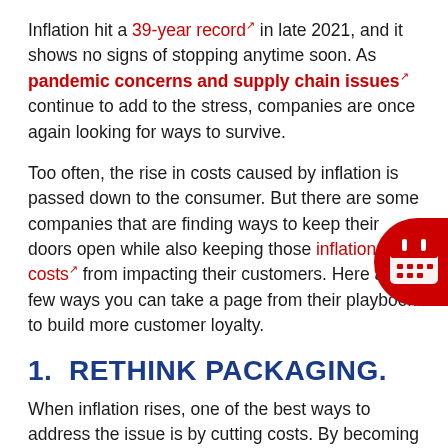Inflation hit a 39-year record in late 2021, and it shows no signs of stopping anytime soon. As pandemic concerns and supply chain issues continue to add to the stress, companies are once again looking for ways to survive.
Too often, the rise in costs caused by inflation is passed down to the consumer. But there are some companies that are finding ways to keep their doors open while also keeping those inflation costs from impacting their customers. Here are a few ways you can take a page from their playbook to build more customer loyalty.
1.  RETHINK PACKAGING.
When inflation rises, one of the best ways to address the issue is by cutting costs. By becoming more